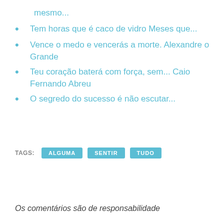mesmo...
Tem horas que é caco de vidro Meses que...
Vence o medo e vencerás a morte. Alexandre o Grande
Teu coração baterá com força, sem... Caio Fernando Abreu
O segredo do sucesso é não escutar...
TAGS: ALGUMA SENTIR TUDO
Os comentários são de responsabilidade